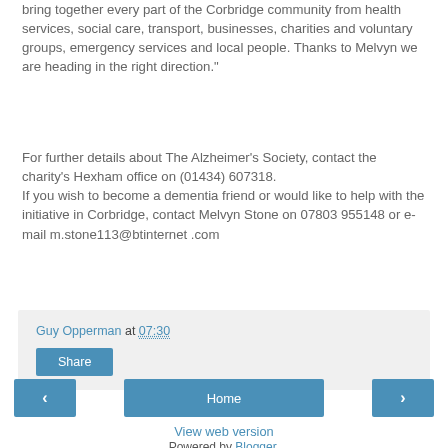bring together every part of the Corbridge community from health services, social care, transport, businesses, charities and voluntary groups, emergency services and local people. Thanks to Melvyn we are heading in the right direction."
For further details about The Alzheimer's Society, contact the charity's Hexham office on (01434) 607318. If you wish to become a dementia friend or would like to help with the initiative in Corbridge, contact Melvyn Stone on 07803 955148 or e-mail m.stone113@btinternet .com
Guy Opperman at 07:30
Share
‹
Home
›
View web version
Powered by Blogger.